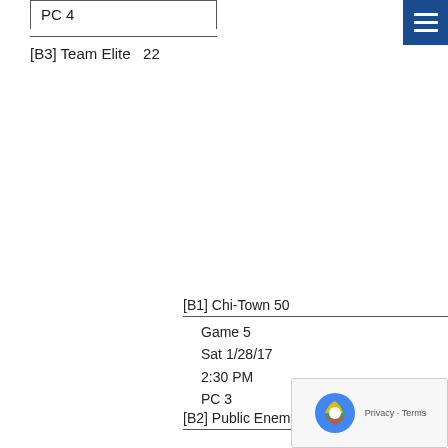PC 4
[B3] Team Elite   22
[Figure (other): Blue hamburger/navigation menu button in top-right corner]
[B1] Chi-Town 50
Game 5
Sat 1/28/17
2:30 PM
PC 3
[B2] Public Enemy
[A3] covello sanit
G
Sat
4:0
PC 4
[Figure (other): reCAPTCHA verification overlay widget with Privacy - Terms text]